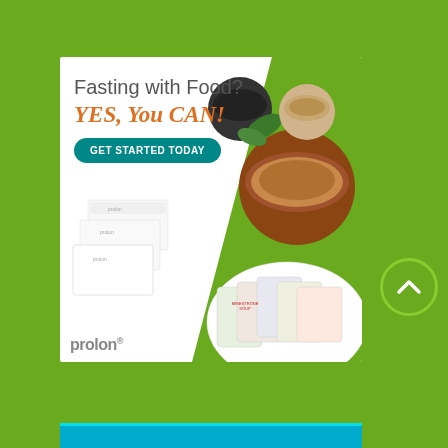[Figure (screenshot): Top partial banner ad with orange 'Order Now' button on brownish/orange background with figure in blue shirt]
[Figure (infographic): ProLon fasting with food advertisement. White background with diagonal green accent. Text: 'Fasting with Food? YES, YOU CAN!' with teal 'GET STARTED TODAY' button. Shows white ProLon product boxes, food ingredient bowls, and product packets. ProLon logo at bottom left.]
[Figure (other): Scroll-up chevron button, circular green button with upward chevron arrow]
[Figure (screenshot): Bottom partial banner with teal/cyan background]